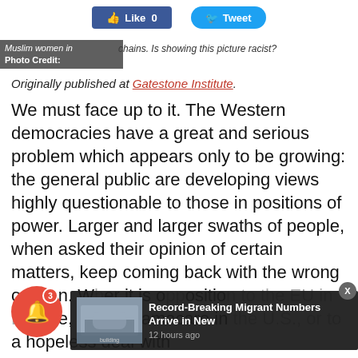[Figure (other): Social media buttons: Like 0 (Facebook) and Tweet (Twitter)]
Muslim women in chains. Is showing this picture racist?  Photo Credit:
Originally published at Gatestone Institute.
We must face up to it. The Western democracies have a great and serious problem which appears only to be growing: the general public are developing views highly questionable to those in positions of power. Larger and larger swaths of people, when asked their opinion of certain matters, keep coming back with the wrong opinion. Whether it is opposition to the EU in Europe, or to Obamacare in the U.S., or to a hopeless deal with
[Figure (screenshot): Notification bubble with bell icon and count 3]
[Figure (screenshot): Popup overlay: Record-Breaking Migrant Numbers Arrive in New, 12 hours ago, with building image thumbnail and X close button]